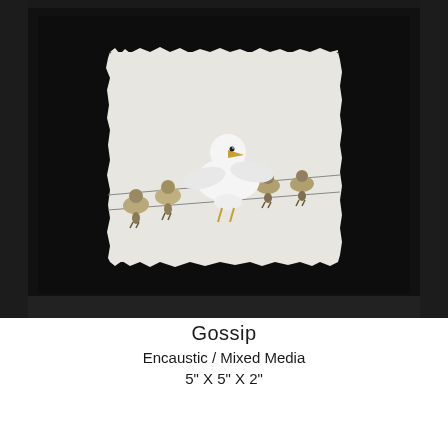[Figure (photo): A framed encaustic/mixed media artwork in a deep black shadow box frame. Inside the frame, on a textured white/cream handmade paper background mounted on black matting, is an illustration of a large white seagull standing on a wire surrounded by four smaller brown/olive birds. The seagull appears to be gossiping or talking while the smaller birds listen.]
Gossip
Encaustic / Mixed Media
5" X 5" X 2"